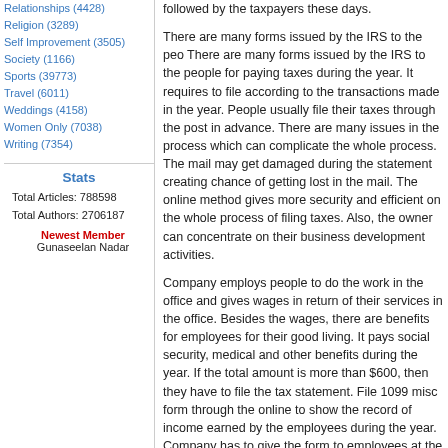Relationships (4428)
Religion (3289)
Self Improvement (3505)
Society (1166)
Sports (39773)
Travel (6011)
Weddings (4158)
Women Only (7038)
Writing (7354)
Stats
Total Articles: 788598
Total Authors: 2706187
Newest Member
Gunaseelan Nadar
followed by the taxpayers these days.
There are many forms issued by the IRS to the people for paying taxes during the year. It requires to file according to the transactions made in the year. People usually file their taxes through the post in advance. There are many issues in the process which can complicate the whole process. The mail may get damaged during the statement creating chance of getting lost in the mail. The online method gives more security and efficient on the whole process of filing taxes. Also, the owner can concentrate on their business development activities.
Company employs people to do the work in the office and gives wages in return of their services in the office. Besides the wages, there are benefits for employees for their good living. It pays social security, medical and other benefits during the year. If the total amount is more than $600, then they have to file the tax statement. File 1099 misc form through the online to show the record of income earned by the employees during the year. Company has to give the form to the employees at the end of the year before paying the taxes with the summary return of the people. It should be filed according to the deadline to avoid the penalty.
Internet is playing a wonderful role in making the life of the people easier. Further, there are expert in helping the companies in filing their form before time without facing penalty. Experts are charging fee which is very less than doing oneself which time and less efficient. Hence, people choose the service provided by professional.E-file 1099-int form to show the interest income from the investments. The interest payer issue form to the IRS when more than 10 or 600 dollars annually. Take the help of our professional service in filing form according to the current rule of the IRS at affordable cost.
Author Resource:- Author is presently working in Splashsys C